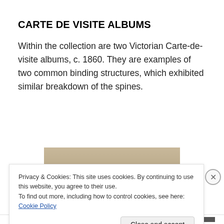CARTE DE VISITE ALBUMS
Within the collection are two Victorian Carte-de-visite albums, c. 1860. They are examples of two common binding structures, which exhibited similar breakdown of the spines.
[Figure (photo): Photograph showing what appears to be hands or a book spine, with a warm brown/tan background]
Privacy & Cookies: This site uses cookies. By continuing to use this website, you agree to their use.
To find out more, including how to control cookies, see here: Cookie Policy
Close and accept